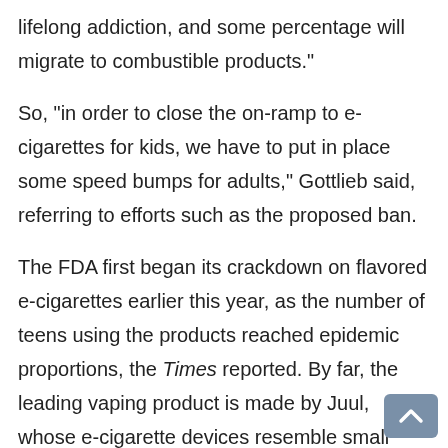lifelong addiction, and some percentage will migrate to combustible products."
So, "in order to close the on-ramp to e-cigarettes for kids, we have to put in place some speed bumps for adults," Gottlieb said, referring to efforts such as the proposed ban.
The FDA first began its crackdown on flavored e-cigarettes earlier this year, as the number of teens using the products reached epidemic proportions, the Times reported. By far, the leading vaping product is made by Juul, whose e-cigarette devices resemble small computer flash drives. Use of Juul has skyrocketed among teens over the past year, and the company's products now command 70 percent of the market.